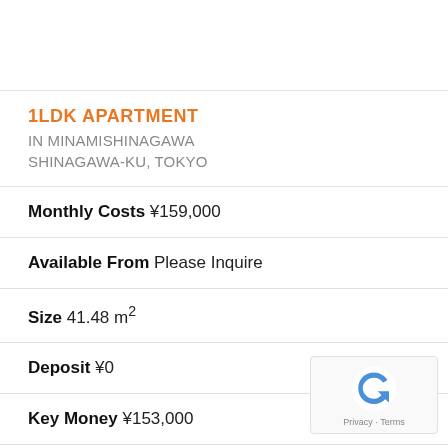1LDK APARTMENT
IN MINAMISHINAGAWA
SHINAGAWA-KU, TOKYO
Monthly Costs ¥159,000
Available From Please Inquire
Size 41.48 m²
Deposit ¥0
Key Money ¥153,000
Floor 2 / 4F
Year Built 2023